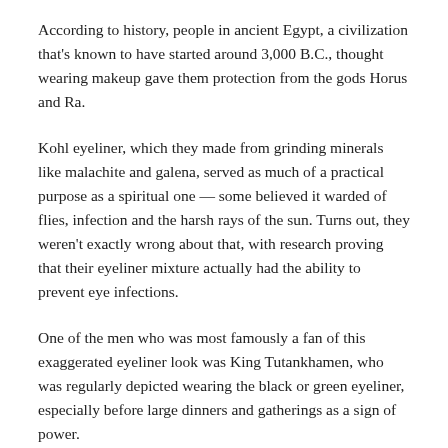According to history, people in ancient Egypt, a civilization that's known to have started around 3,000 B.C., thought wearing makeup gave them protection from the gods Horus and Ra.
Kohl eyeliner, which they made from grinding minerals like malachite and galena, served as much of a practical purpose as a spiritual one — some believed it warded of flies, infection and the harsh rays of the sun. Turns out, they weren't exactly wrong about that, with research proving that their eyeliner mixture actually had the ability to prevent eye infections.
One of the men who was most famously a fan of this exaggerated eyeliner look was King Tutankhamen, who was regularly depicted wearing the black or green eyeliner, especially before large dinners and gatherings as a sign of power.
And if you consider nail polish to be makeup like we do, then men have actually been wearing it since 3,200 B.C., with men wearing nail polish to signify class in Babylonia during this time.
Men in China adopted Egypt's decorations this practice as well,